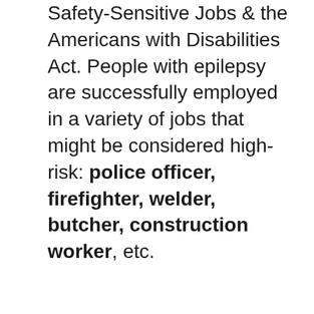Safety-Sensitive Jobs & the Americans with Disabilities Act. People with epilepsy are successfully employed in a variety of jobs that might be considered high-risk: police officer, firefighter, welder, butcher, construction worker, etc.